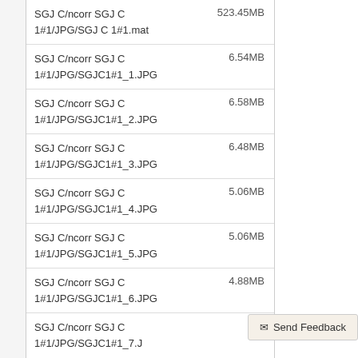| Name | Size |
| --- | --- |
| SGJ C/ncorr SGJ C 1#1/JPG/SGJ C 1#1.mat | 523.45MB |
| SGJ C/ncorr SGJ C 1#1/JPG/SGJC1#1_1.JPG | 6.54MB |
| SGJ C/ncorr SGJ C 1#1/JPG/SGJC1#1_2.JPG | 6.58MB |
| SGJ C/ncorr SGJ C 1#1/JPG/SGJC1#1_3.JPG | 6.48MB |
| SGJ C/ncorr SGJ C 1#1/JPG/SGJC1#1_4.JPG | 5.06MB |
| SGJ C/ncorr SGJ C 1#1/JPG/SGJC1#1_5.JPG | 5.06MB |
| SGJ C/ncorr SGJ C 1#1/JPG/SGJC1#1_6.JPG | 4.88MB |
| SGJ C/ncorr SGJ C 1#1/JPG/SGJC1#1_7.J… |  |